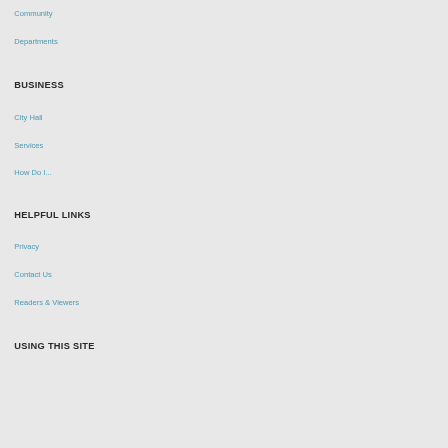Community
Departments
BUSINESS
City Hall
Services
How Do I...
HELPFUL LINKS
Privacy
Contact Us
Readers & Viewers
USING THIS SITE